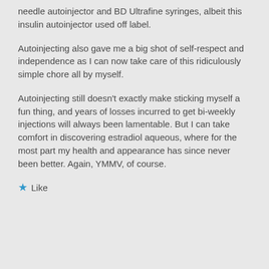needle autoinjector and BD Ultrafine syringes, albeit this insulin autoinjector used off label.
Autoinjecting also gave me a big shot of self-respect and independence as I can now take care of this ridiculously simple chore all by myself.
Autoinjecting still doesn't exactly make sticking myself a fun thing, and years of losses incurred to get bi-weekly injections will always been lamentable. But I can take comfort in discovering estradiol aqueous, where for the most part my health and appearance has since never been better. Again, YMMV, of course.
★ Like